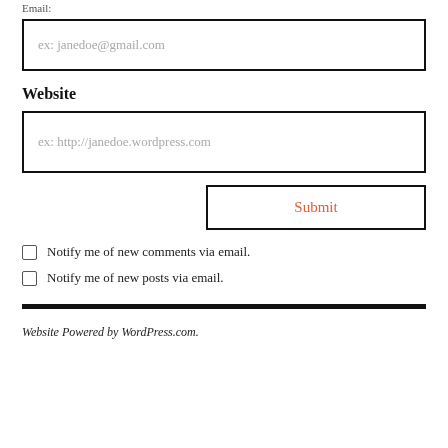Email:
[Figure (other): Email input field with placeholder text 'ex: janedoe@gmail.com']
Website
[Figure (other): Website input field with placeholder text 'ex: http://janedoe.wordpress.com']
[Figure (other): Submit button]
Notify me of new comments via email.
Notify me of new posts via email.
Website Powered by WordPress.com.